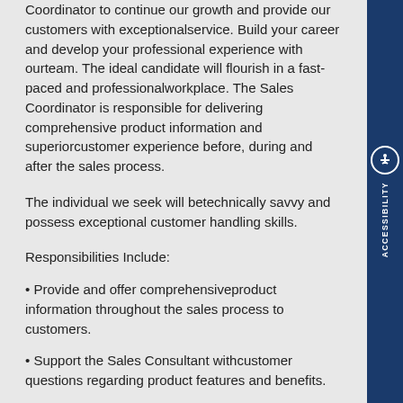Coordinator to continue our growth and provide our customers with exceptionalservice. Build your career and develop your professional experience with ourteam. The ideal candidate will flourish in a fast-paced and professionalworkplace. The Sales Coordinator is responsible for delivering comprehensive product information and superiorcustomer experience before, during and after the sales process.
The individual we seek will betechnically savvy and possess exceptional customer handling skills.
Responsibilities Include:
Provide and offer comprehensiveproduct information throughout the sales process to customers.
Support the Sales Consultant withcustomer questions regarding product features and benefits.